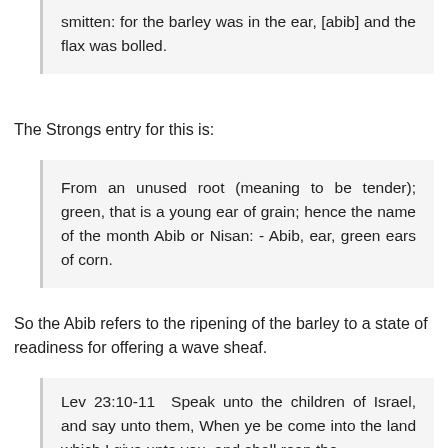smitten: for the barley was in the ear, [abib] and the flax was bolled.
The Strongs entry for this is:
From an unused root (meaning to be tender); green, that is a young ear of grain; hence the name of the month Abib or Nisan: - Abib, ear, green ears of corn.
So the Abib refers to the ripening of the barley to a state of readiness for offering a wave sheaf.
Lev 23:10-11  Speak unto the children of Israel, and say unto them, When ye be come into the land which I give unto you, and shall reap the harvest thereof, then ye shall bring a sheaf of the